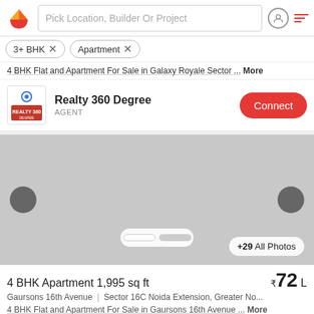Pick Location, Builder Or Project
3+ BHK × Apartment ×
4 BHK Flat and Apartment For Sale in Galaxy Royale Sector ... More
Realty 360 Degree
AGENT
[Figure (photo): Property listing image placeholder (gray) with navigation arrows, image indicator dots, and '+29 All Photos' button]
4 BHK Apartment 1,995 sq ft  ₹72 L
Gaursons 16th Avenue | Sector 16C Noida Extension, Greater No...
4 BHK Flat and Apartment For Sale in Gaursons 16th Avenue...